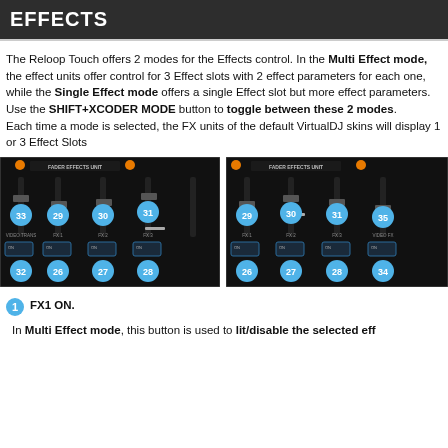EFFECTS
The Reloop Touch offers 2 modes for the Effects control. In the Multi Effect mode, the effect units offer control for 3 Effect slots with 2 effect parameters for each one, while the Single Effect mode offers a single Effect slot but more effect parameters.
Use the SHIFT+XCODER MODE button to toggle between these 2 modes. Each time a mode is selected, the FX units of the default VirtualDJ skins will display 1 or 3 Effect Slots
[Figure (screenshot): Fader Effects Unit panel showing numbered controls 33, 29, 30, 31 (top row) and 32, 26, 27, 28 (bottom row) with labels VIDEO TRANS, FX 1, FX 2, FX 3]
[Figure (screenshot): Fader Effects Unit panel showing numbered controls 29, 30, 31, 35 (top row) and 26, 27, 28, 34 (bottom row) with labels FX 1, FX 2, FX 3, VIDEO FX]
FX1 ON.
In Multi Effect mode, this button is used to lit/disable the selected effect.